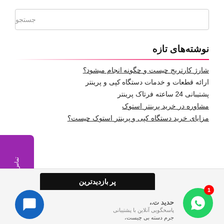جستجو
نوشته‌های تازه
شارژ کارتریج چیست و چگونه انجام میشود؟
ارائه قطعات و خدمات دستگاه کپی و پرینتر
پشتیبانی 24 ساعته فرتاک پرینتر
مشاوره در خرید پرینتر استوک
مزایای خرید دستگاه کپی و پرینتر استوک چیست؟
تماس بگیرید : 02188593086
پر بازدیدترین
حدید ت.، پاسخگویی آنلاین با پشتیبانی، جرم دسته بی چیست،
1